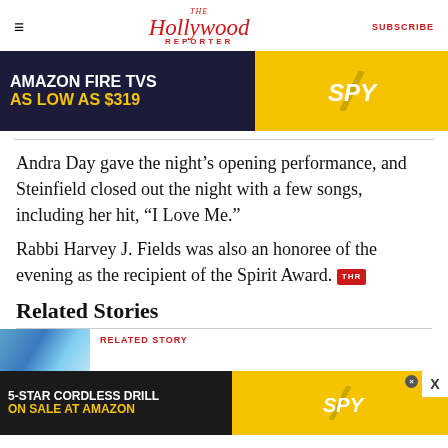The Hollywood Reporter | SUBSCRIBE
[Figure (illustration): Advertisement banner: Amazon Fire TVs As Low As $319 - SPY]
Andra Day gave the night’s opening performance, and Steinfield closed out the night with a few songs, including her hit, “I Love Me.”
Rabbi Harvey J. Fields was also an honoree of the evening as the recipient of the Spirit Award. [THR]
Related Stories
RELATED STORY
[Figure (illustration): Advertisement banner: 5-Star Cordless Drill On Sale At Amazon - SPY]